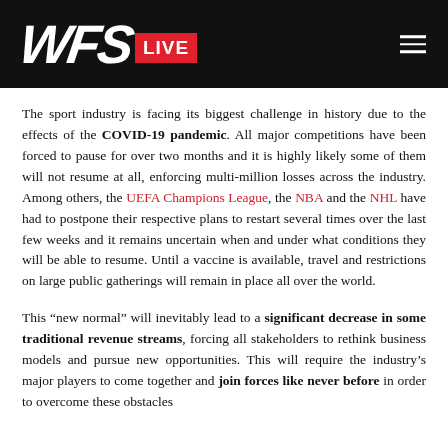WFS LIVE
The sport industry is facing its biggest challenge in history due to the effects of the COVID-19 pandemic. All major competitions have been forced to pause for over two months and it is highly likely some of them will not resume at all, enforcing multi-million losses across the industry. Among others, the UEFA Champions League, the NBA and the NHL have had to postpone their respective plans to restart several times over the last few weeks and it remains uncertain when and under what conditions they will be able to resume. Until a vaccine is available, travel and restrictions on large public gatherings will remain in place all over the world.
This “new normal” will inevitably lead to a significant decrease in some traditional revenue streams, forcing all stakeholders to rethink business models and pursue new opportunities. This will require the industry’s major players to come together and join forces like never before in order to overcome these obstacles